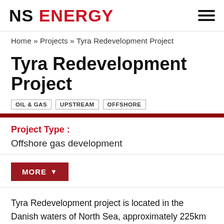NS ENERGY
Home » Projects » Tyra Redevelopment Project
Tyra Redevelopment Project
OIL & GAS  UPSTREAM  OFFSHORE
Project Type :
Offshore gas development
MORE
Tyra Redevelopment project is located in the Danish waters of North Sea, approximately 225km off the coast of Esbjerg,